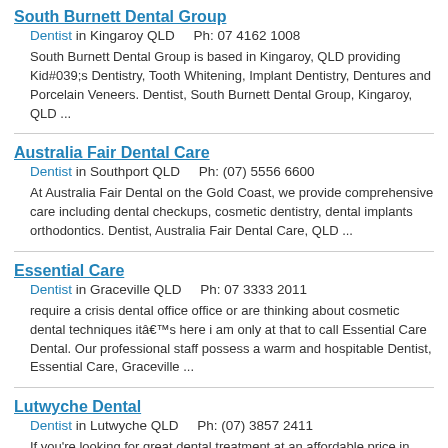South Burnett Dental Group
Dentist in Kingaroy QLD    Ph: 07 4162 1008
South Burnett Dental Group is based in Kingaroy, QLD providing Kid#039;s Dentistry, Tooth Whitening, Implant Dentistry, Dentures and Porcelain Veneers. Dentist, South Burnett Dental Group, Kingaroy, QLD ...
Australia Fair Dental Care
Dentist in Southport QLD    Ph: (07) 5556 6600
At Australia Fair Dental on the Gold Coast, we provide comprehensive care including dental checkups, cosmetic dentistry, dental implants orthodontics. Dentist, Australia Fair Dental Care, QLD ...
Essential Care
Dentist in Graceville QLD    Ph: 07 3333 2011
require a crisis dental office office or are thinking about cosmetic dental techniques itâ€™s here i am only at that to call Essential Care Dental. Our professional staff possess a warm and hospitable Dentist, Essential Care, Graceville ...
Lutwyche Dental
Dentist in Lutwyche QLD    Ph: (07) 3857 2411
If you're looking for great dental treatment at an affordable price in North Brisbane, look no further than Lutwyche Dental for all your general dental ...